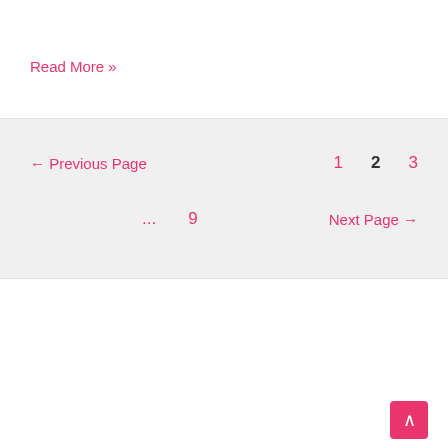Read More »
← Previous Page   1   2   3   ...   9   Next Page →
Trina Krug
[Figure (photo): Photo of Trina Krug against a brick wall background]